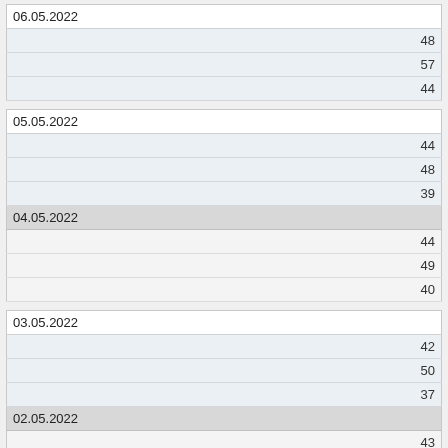| 06.05.2022 |
| 48 |
| 57 |
| 44 |
| 05.05.2022 |
| 44 |
| 48 |
| 39 |
| 04.05.2022 |
| 44 |
| 49 |
| 40 |
| 03.05.2022 |
| 42 |
| 50 |
| 37 |
| 02.05.2022 |
| 43 |